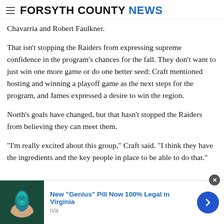FORSYTH COUNTY NEWS
Chavarria and Robert Faulkner.
That isn't stopping the Raiders from expressing supreme confidence in the program's chances for the fall. They don't want to just win one more game or do one better seed: Craft mentioned hosting and winning a playoff game as the next steps for the program, and James expressed a desire to win the region.
North's goals have changed, but that hasn't stopped the Raiders from believing they can meet them.
"I'm really excited about this group," Craft said. "I think they have the ingredients and the key people in place to be able to do that."
[Figure (other): Advertisement banner: image of a blue/teal object held in fingers, text 'New "Genius" Pill Now 100% Legal in Virginia', subtext 'n/a', with right arrow button]